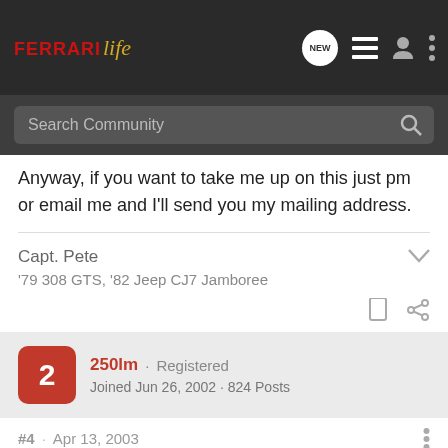FerrariLife — Search Community navigation header
Anyway, if you want to take me up on this just pm or email me and I'll send you my mailing address.
Capt. Pete
'79 308 GTS, '82 Jeep CJ7 Jamboree
250lm · Registered
Joined Jun 26, 2002 · 824 Posts
#4 · Apr 13, 2003
I think it is the hassle that goes with it. Most of the time, when you ask them, they will ship internationally. Payment is a bit